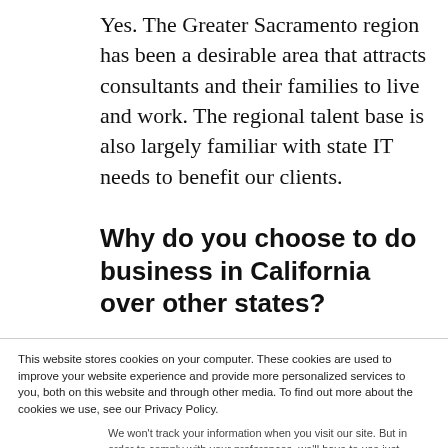Yes. The Greater Sacramento region has been a desirable area that attracts consultants and their families to live and work. The regional talent base is also largely familiar with state IT needs to benefit our clients.
Why do you choose to do business in California over other states?
This website stores cookies on your computer. These cookies are used to improve your website experience and provide more personalized services to you, both on this website and through other media. To find out more about the cookies we use, see our Privacy Policy.
We won't track your information when you visit our site. But in order to comply with your preferences, we'll have to use just one tiny cookie so that you're not asked to make this choice again.